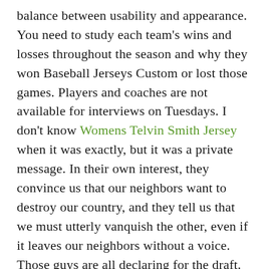balance between usability and appearance. You need to study each team's wins and losses throughout the season and why they won Baseball Jerseys Custom or lost those games. Players and coaches are not available for interviews on Tuesdays. I don't know Womens Telvin Smith Jersey when it was exactly, but it was a private message. In their own interest, they convince us that our neighbors want to destroy our country, and they tell us that we must utterly vanquish the other, even if it leaves our neighbors without a voice. Those guys are all declaring for the draft. This is awesome because the police department, we don't have the resources, Jefferson said. I want to make Buffalo home for the next two, three years. But I made enough plays to win the game, and that's what it's all about. In The Finals, however, Abdul-